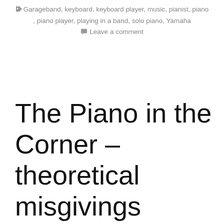Garageband, keyboard, keyboard player, music, pianist, piano, piano player, playing in a band, solo piano, Yamaha
Leave a comment
The Piano in the Corner – theoretical misgivings